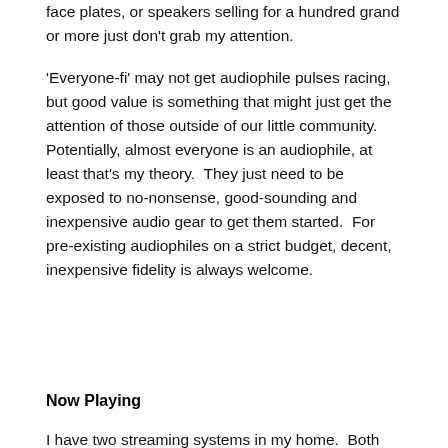face plates, or speakers selling for a hundred grand or more just don't grab my attention.
'Everyone-fi' may not get audiophile pulses racing, but good value is something that might just get the attention of those outside of our little community.  Potentially, almost everyone is an audiophile, at least that's my theory.  They just need to be exposed to no-nonsense, good-sounding and inexpensive audio gear to get them started.  For pre-existing audiophiles on a strict budget, decent, inexpensive fidelity is always welcome.
Now Playing
I have two streaming systems in my home.  Both are neatly-packaged solutions for file-based audio playback.  They aren't inexpensive, but made for persons like